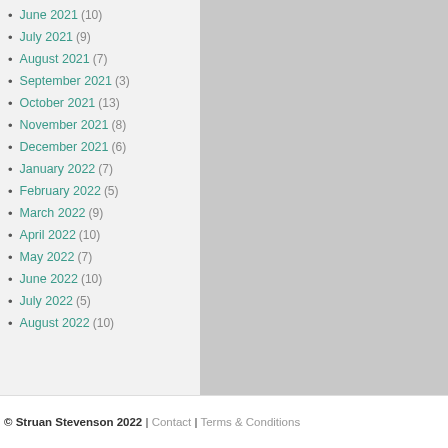June 2021 (10)
July 2021 (9)
August 2021 (7)
September 2021 (3)
October 2021 (13)
November 2021 (8)
December 2021 (6)
January 2022 (7)
February 2022 (5)
March 2022 (9)
April 2022 (10)
May 2022 (7)
June 2022 (10)
July 2022 (5)
August 2022 (10)
© Struan Stevenson 2022 | Contact | Terms & Conditions